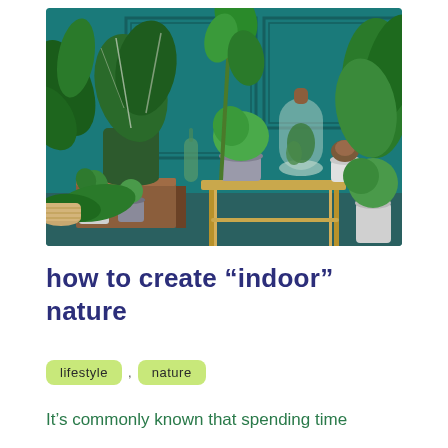[Figure (photo): Indoor plant collection arranged against a teal/dark green paneled wall. Various tropical and succulent plants in white, gray, and dark green pots displayed on a wooden block and a gold-legged side table. Includes large leafy plants, small succulents, a glass terrarium, and lush green plants on the right side.]
how to create “indoor” nature
lifestyle
nature
It’s commonly known that spending time